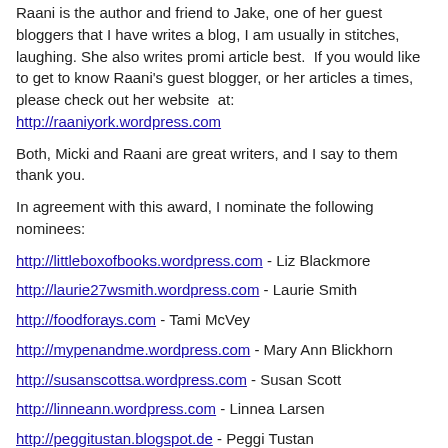Raani is the author and friend to Jake, one of her guest bloggers that I have writes a blog, I am usually in stitches, laughing. She also writes promi articles best. If you would like to get to know Raani's guest blogger, or her articles a times, please check out her website at: http://raaniyork.wordpress.com
Both, Micki and Raani are great writers, and I say to them thank you.
In agreement with this award, I nominate the following nominees:
http://littleboxofbooks.wordpress.com - Liz Blackmore
http://laurie27wsmith.wordpress.com - Laurie Smith
http://foodforays.com - Tami McVey
http://mypenandme.wordpress.com - Mary Ann Blickhorn
http://susanscottsa.wordpress.com - Susan Scott
http://linneann.wordpress.com - Linnea Larsen
http://peggitustan.blogspot.de - Peggi Tustan
http://pstrack.blogspot.de - Peggy Strack
http://memyselfandkids.wordpress.com - Larry Bernstein
http://hearingadistantthunder.blogspot.de - Catharine Otto-Stefans
I would also like to thank my readers. It is true, the heart of a writer beats